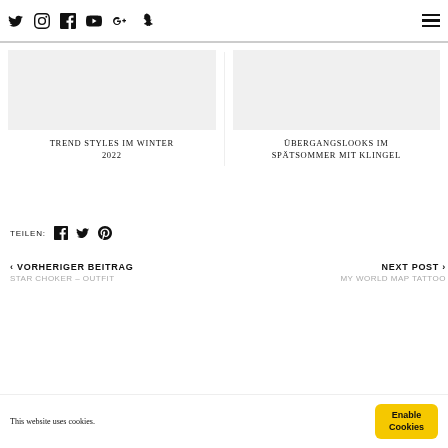Social icons: Twitter, Instagram, Facebook, YouTube, Google+, Snapchat; hamburger menu
TREND STYLES IM WINTER 2022
ÜBERGANGSLOOKS IM SPÄTSOMMER MIT KLINGEL
TEILEN:
< VORHERIGER BEITRAG
STAR CHOKER – OUTFIT
NEXT POST >
MY WORLD MAP TATTOO
This website uses cookies.
Enable Cookies